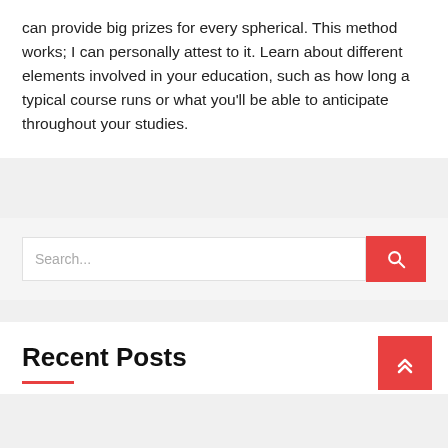can provide big prizes for every spherical. This method works; I can personally attest to it. Learn about different elements involved in your education, such as how long a typical course runs or what you'll be able to anticipate throughout your studies.
[Figure (other): Search bar with red search button and text input placeholder 'Search...']
Recent Posts